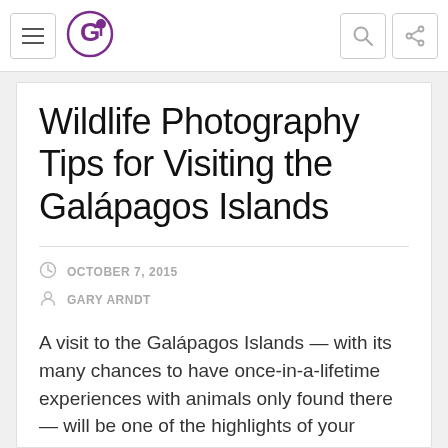Wildlife Photography Tips for Visiting the Galápagos Islands — navigation bar with hamburger menu, G logo, search and share icons
Wildlife Photography Tips for Visiting the Galápagos Islands
OCTOBER 7, 2015
GARY ARNDT
A visit to the Galápagos Islands — with its many chances to have once-in-a-lifetime experiences with animals only found there — will be one of the highlights of your